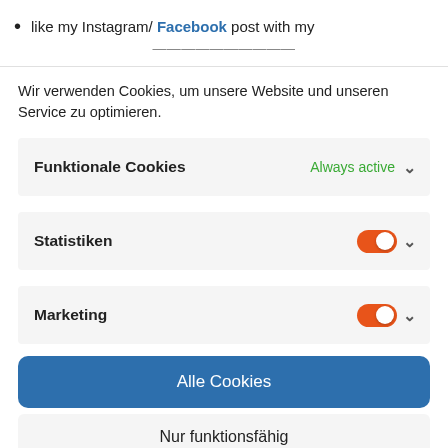like my Instagram/ Facebook post with my
Wir verwenden Cookies, um unsere Website und unseren Service zu optimieren.
Funktionale Cookies — Always active
Statistiken (toggle on)
Marketing (toggle on)
Alle Cookies
Nur funktionsfähig
Einstellungen speichern